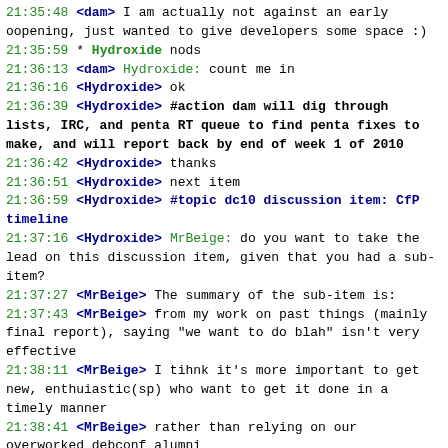21:35:48 <dam> I am actually not against an early oopening, just wanted to give developers some space :)
21:35:59 * Hydroxide nods
21:36:13 <dam> Hydroxide: count me in
21:36:16 <Hydroxide> ok
21:36:39 <Hydroxide> #action dam will dig through lists, IRC, and penta RT queue to find penta fixes to make, and will report back by end of week 1 of 2010
21:36:42 <Hydroxide> thanks
21:36:51 <Hydroxide> next item
21:36:59 <Hydroxide> #topic dc10 discussion item: CfP timeline
21:37:16 <Hydroxide> MrBeige: do you want to take the lead on this discussion item, given that you had a sub-item?
21:37:27 <MrBeige> The summary of the sub-item is:
21:37:43 <MrBeige> from my work on past things (mainly final report), saying "we want to do blah" isn't very effective
21:38:11 <MrBeige> I tihnk it's more important to get new, enthuiastic(sp) who want to get it done in a timely manner
21:38:41 <MrBeige> rather than relying on our overworked debconf alumni
21:39:06 <Clint> someone fresh who cares about papers
21:39:06 <aba> MrBeige: if you find out how to do that, can we have the same for RC bug fixing?
21:39:09 * aba hides
21:39:13 <Hydroxide> haha :)
21:39:18 <MrBeige> which is why I thought it would be